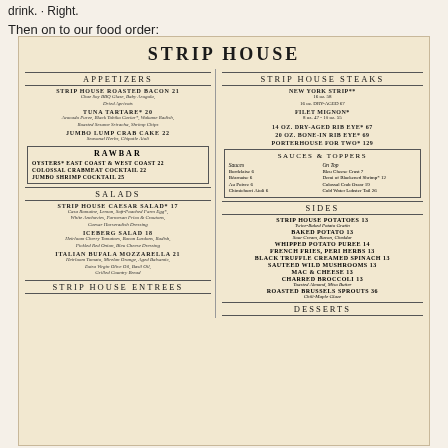drink.  Right.
Then on to our food order:
[Figure (photo): Strip House restaurant menu showing Appetizers, Raw Bar, Salads, Strip House Steaks, Sauces & Toppers, Sides, Strip House Entrees, and Desserts sections with prices]
STRIP HOUSE
APPETIZERS
STRIP HOUSE ROASTED BACON 21 - Chae Soy BBQ Glaze, Baby Arugula, Dried Apricots
TUNA TARTARE* 20 - Avocado Puree, Black Tobiko Caviar*, Wakame Radish, Roasted Sesame Sriracha, Shrimp Chips
JUMBO LUMP CRAB CAKE 22 - Seasonal Herbs, Chipotle Aioli
RAW BAR
OYSTERS* East coast & West coast 22
COLOSSAL CRABMEAT COCKTAIL 22
JUMBO SHRIMP COCKTAIL 25
SALADS
STRIP HOUSE CAESAR SALAD* 17 - Casa Romaine, Lemon, Soft-Poached Farm Egg*, White Anchovies, Parmesan Frico & Croutons, Caesar Horseradish Dressing
ICEBERG SALAD 18 - Heirloom Cherry Tomatoes, Bacon Lardons, Radish, Pickled Red Onion, Bleu Cheese Dressing
ITALIAN BUFALA MOZZARELLA 21 - Heirloom Tomato, Mirelan Orange, Aged Balsamic, Extra Virgin Olive Oil, Basil Oil, Grilled Country Bread
STRIP HOUSE STEAKS
NEW YORK STRIP** 16 oz. 58 / 16 oz. DRY-AGED 67
FILET MIGNON* 8 oz. 47 - 10 oz. 55
14 oz. DRY-AGED RIB EYE* 67
20 oz. BONE-IN RIB EYE* 69
PORTERHOUSE FOR TWO* 129
SAUCES & TOPPERS
Sauces: Bordelaise 6, Béarnaise 6, Au Poivre 6, Chimichurri Aioli 6 | On Top: Bleu Cheese Crust 7, Demi of Blackened Shrimp* 12, Colossal Crab Oscar 19, Cold Water Lobster Tail 26
SIDES
STRIP HOUSE POTATOES 13 - Twice-Baked Potato Gratin
BAKED POTATO 13 - Sour Cream, Bacon, Cheddar
WHIPPED POTATO PUREE 14
FRENCH FRIES, Peri Herbs 13
BLACK TRUFFLE CREAMED SPINACH 13
SAUTEED WILD MUSHROOMS 13
MAC & CHEESE 13
CHARRED BROCCOLI 13 - Toasted Almond, Miso Butter
ROASTED BRUSSELS SPROUTS 36 - Chili-Maple Glaze
STRIP HOUSE ENTREES
DESSERTS